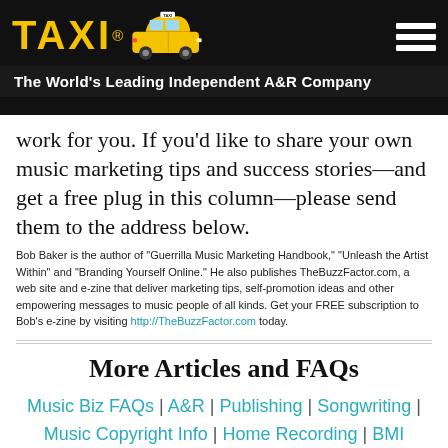TAXI® — The World's Leading Independent A&R Company
work for you. If you'd like to share your own music marketing tips and success stories—and get a free plug in this column—please send them to the address below.
Bob Baker is the author of "Guerrilla Music Marketing Handbook," "Unleash the Artist Within" and "Branding Yourself Online." He also publishes TheBuzzFactor.com, a web site and e-zine that deliver marketing tips, self-promotion ideas and other empowering messages to music people of all kinds. Get your FREE subscription to Bob's e-zine by visiting http://TheBuzzFactor.com today.
More Articles and FAQs
Music Biz FAQs | A&R | Publishing | Songwriting | Music Copyright Info | Home Recording | BMI ASCAP
Film & TV Music | Artists Management | Music-